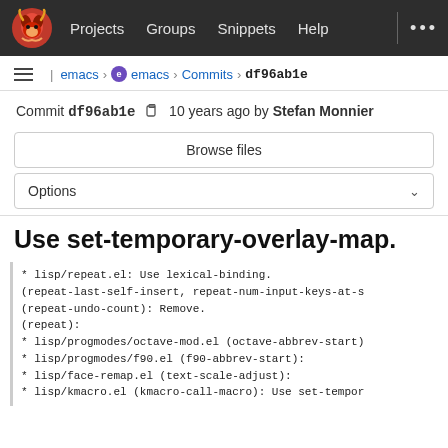Projects  Groups  Snippets  Help  ...
emacs › emacs › Commits › df96ab1e
Commit df96ab1e  10 years ago by Stefan Monnier
Browse files
Options
Use set-temporary-overlay-map.
* lisp/repeat.el: Use lexical-binding.
(repeat-last-self-insert, repeat-num-input-keys-at-s
(repeat-undo-count): Remove.
(repeat):
* lisp/progmodes/octave-mod.el (octave-abbrev-start)
* lisp/progmodes/f90.el (f90-abbrev-start):
* lisp/face-remap.el (text-scale-adjust):
* lisp/kmacro.el (kmacro-call-macro): Use set-tempor